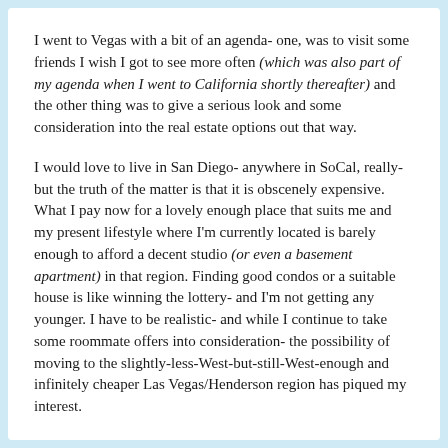I went to Vegas with a bit of an agenda- one, was to visit some friends I wish I got to see more often (which was also part of my agenda when I went to California shortly thereafter) and the other thing was to give a serious look and some consideration into the real estate options out that way.
I would love to live in San Diego- anywhere in SoCal, really- but the truth of the matter is that it is obscenely expensive. What I pay now for a lovely enough place that suits me and my present lifestyle where I'm currently located is barely enough to afford a decent studio (or even a basement apartment) in that region. Finding good condos or a suitable house is like winning the lottery- and I'm not getting any younger. I have to be realistic- and while I continue to take some roommate offers into consideration- the possibility of moving to the slightly-less-West-but-still-West-enough and infinitely cheaper Las Vegas/Henderson region has piqued my interest.